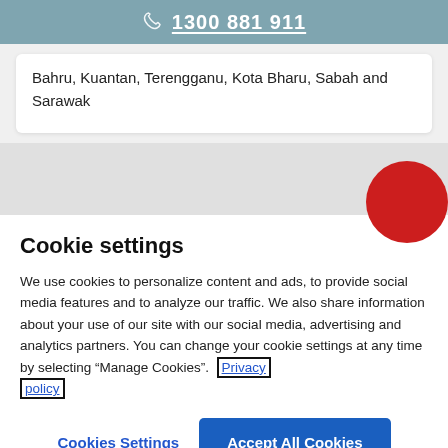1300 881 911
Bahru, Kuantan, Terengganu, Kota Bharu, Sabah and Sarawak
Cookie settings
We use cookies to personalize content and ads, to provide social media features and to analyze our traffic. We also share information about your use of our site with our social media, advertising and analytics partners. You can change your cookie settings at any time by selecting “Manage Cookies”. Privacy policy
Cookies Settings
Accept All Cookies